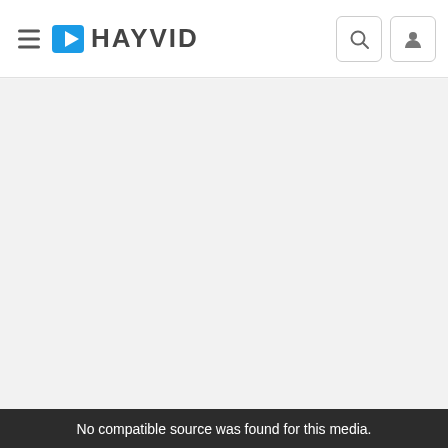HAYVID
[Figure (screenshot): Large empty grey content area below the navigation header]
No compatible source was found for this media.